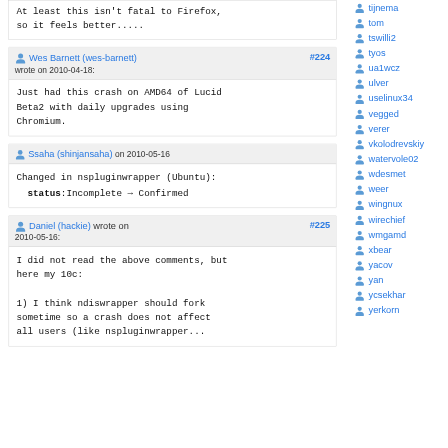At least this isn't fatal to Firefox, so it feels better.....
Wes Barnett (wes-barnett) wrote on 2010-04-18: #224
Just had this crash on AMD64 of Lucid Beta2 with daily upgrades using Chromium.
Ssaha (shinjansaha) on 2010-05-16
Changed in nspluginwrapper (Ubuntu):
  status:Incomplete → Confirmed
Daniel (hackie) wrote on 2010-05-16: #225
I did not read the above comments, but here my 10c:

1) I think ndiswrapper should fork sometime so a crash does not affect all users (like nspluginwrapper...
tijnema
tom
tswilli2
tyos
ua1wcz
ulver
uselinux34
vegged
verer
vkolodrevskiy
watervole02
wdesmet
weer
wingnux
wirechief
wmgamd
xbear
yacov
yan
ycsekhar
yerkorn